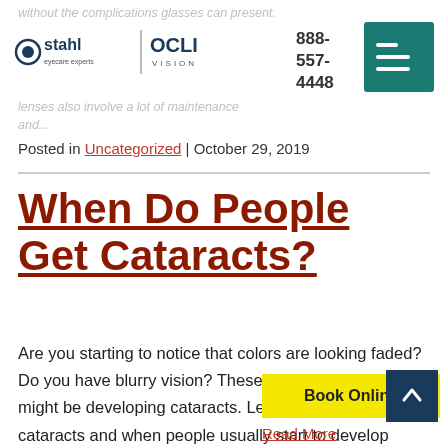without the complications glasses can present. Contact lenses also involve a lot of maintenance and...
[Figure (logo): Stahl Eyecare Experts and OCLI Vision logos side by side with phone number 888-557-4448 and teal hamburger menu button]
Posted in Uncategorized | October 29, 2019
When Do People Get Cataracts?
Are you starting to notice that colors are looking faded? Do you have blurry vision? These are signs that you might be developing cataracts. Let's learn more about cataracts and when people usually start to develop them. What is a cataract? In the eye, the lens cataracts when the lens in
Book Online
Read More